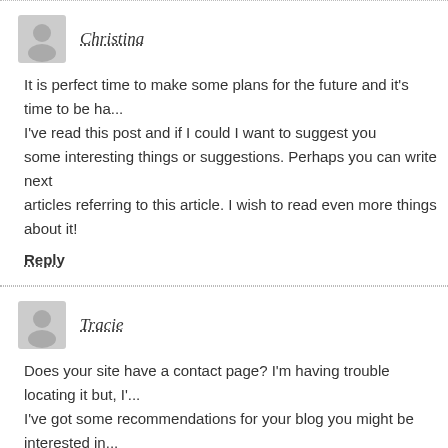Christina
It is perfect time to make some plans for the future and it's time to be ha... I've read this post and if I could I want to suggest you some interesting things or suggestions. Perhaps you can write next articles referring to this article. I wish to read even more things about it!
Reply
Tracie
Does your site have a contact page? I'm having trouble locating it but, I'... I've got some recommendations for your blog you might be interested in... Either way, great blog and I look forward to seeing it grow over time.
Reply